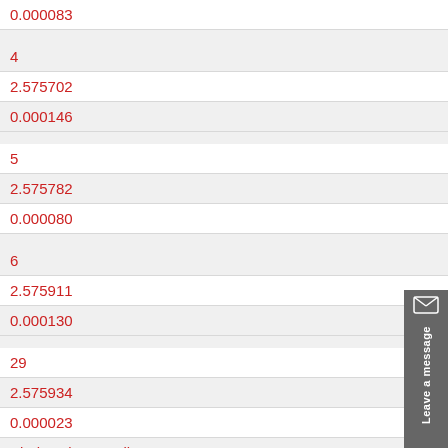0.000083
4
2.575702
0.000146
5
2.575782
0.000080
6
2.575911
0.000130
29
2.575934
0.000023
BindProductDetail